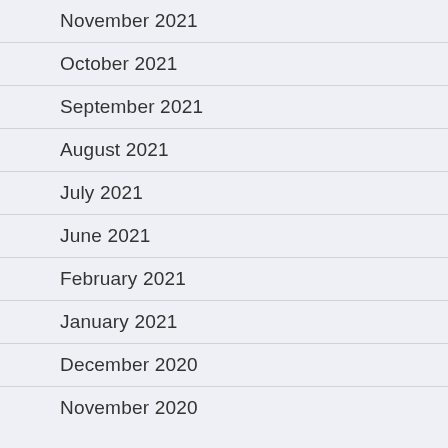November 2021
October 2021
September 2021
August 2021
July 2021
June 2021
February 2021
January 2021
December 2020
November 2020